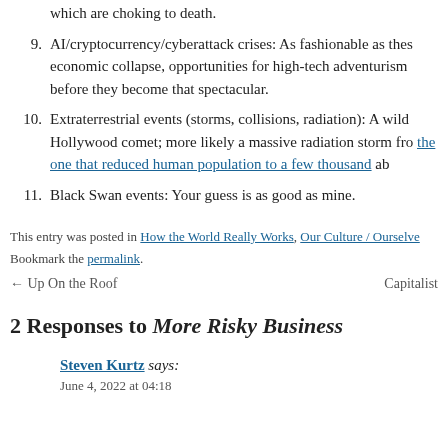which are choking to death.
9. AI/cryptocurrency/cyberattack crises: As fashionable as these economic collapse, opportunities for high-tech adventurism before they become that spectacular.
10. Extraterrestrial events (storms, collisions, radiation): A wild Hollywood comet; more likely a massive radiation storm from the one that reduced human population to a few thousand ab
11. Black Swan events: Your guess is as good as mine.
This entry was posted in How the World Really Works, Our Culture / Ourselve Bookmark the permalink.
← Up On the Roof    Capitalist
2 Responses to More Risky Business
Steven Kurtz says:
June 4, 2022 at 04:18